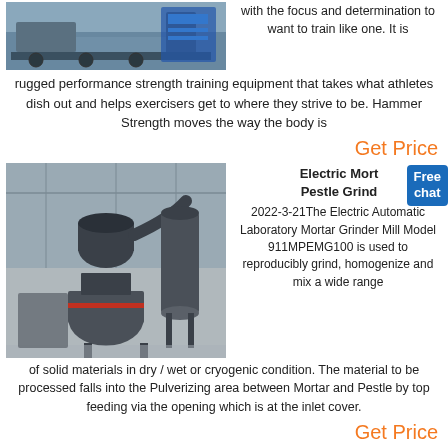[Figure (photo): Industrial machinery/equipment in a factory or warehouse setting, blue and grey tones]
with the focus and determination to want to train like one. It is rugged performance strength training equipment that takes what athletes dish out and helps exercisers get to where they strive to be. Hammer Strength moves the way the body is
Get Price
[Figure (photo): Electric mortar grinder mill machine in an industrial workshop]
Electric Mortar Pestle Grinder
2022-3-21The Electric Automatic Laboratory Mortar Grinder Mill Model 911MPEMG100 is used to reproducibly grind, homogenize and mix a wide range of solid materials in dry / wet or cryogenic condition. The material to be processed falls into the Pulverizing area between Mortar and Pestle by top feeding via the opening which is at the inlet cover.
Get Price